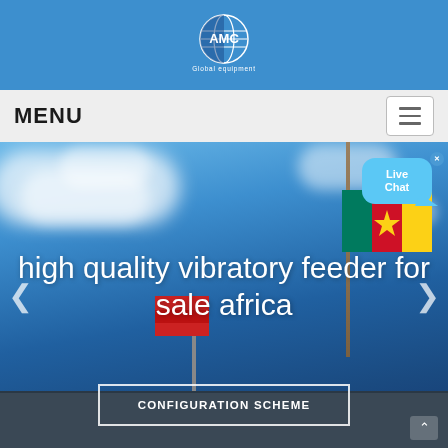[Figure (logo): AMC Global company logo with globe icon on blue header bar]
MENU
[Figure (photo): Hero banner showing blue sky with clouds and flags (Cameroonian flag and red flags), with a building roofline at bottom. Text overlay reads 'high quality vibratory feeder for sale africa' and a 'CONFIGURATION SCHEME' button. Live Chat bubble visible in upper right corner.]
high quality vibratory feeder for sale africa
CONFIGURATION SCHEME